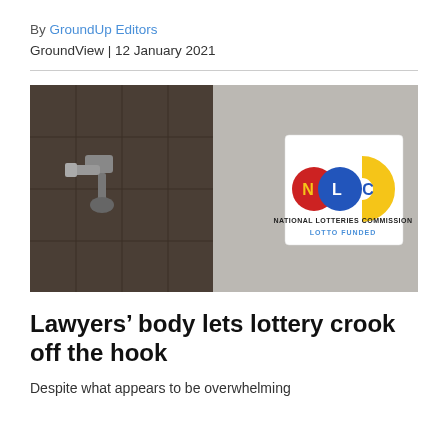By GroundUp Editors
GroundView | 12 January 2021
[Figure (photo): Split image: left side shows a wall-mounted tap/faucet on a dark tiled wall; right side shows a white NLC (National Lotteries Commission) Lotto Funded sign mounted on a grey wall, with the NLC logo featuring red, blue, and yellow interlocking circles with letters N, L, C.]
Lawyers’ body lets lottery crook off the hook
Despite what appears to be overwhelming